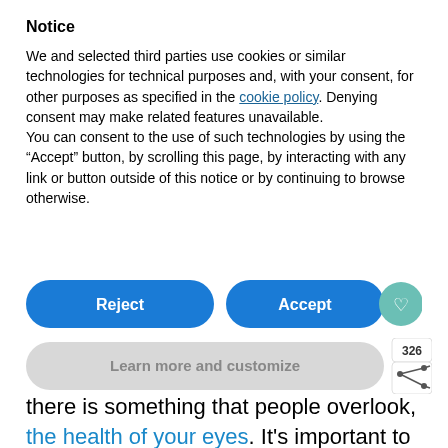Notice
We and selected third parties use cookies or similar technologies for technical purposes and, with your consent, for other purposes as specified in the cookie policy. Denying consent may make related features unavailable.
You can consent to the use of such technologies by using the “Accept” button, by scrolling this page, by interacting with any link or button outside of this notice or by continuing to browse otherwise.
[Figure (screenshot): Two blue pill-shaped buttons labeled 'Reject' and 'Accept', with a teal heart icon button to the right]
[Figure (screenshot): A gray pill-shaped button labeled 'Learn more and customize', with a share count of 326 and a share icon on the right]
there is something that people overlook, the health of your eyes. It’s important to protect your eyes from harmful Ultraviolet (UV) ray.